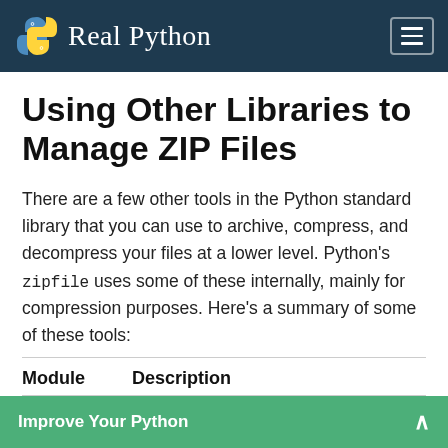Real Python
Using Other Libraries to Manage ZIP Files
There are a few other tools in the Python standard library that you can use to archive, compress, and decompress your files at a lower level. Python's zipfile uses some of these internally, mainly for compression purposes. Here's a summary of some of these tools:
| Module | Description |
| --- | --- |
Improve Your Python